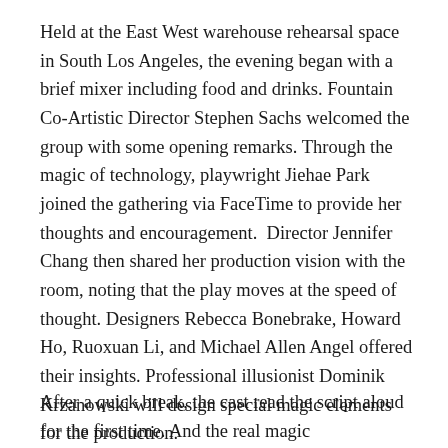Held at the East West warehouse rehearsal space in South Los Angeles, the evening began with a brief mixer including food and drinks. Fountain  Co-Artistic Director Stephen Sachs welcomed the group with some opening remarks. Through the magic of technology, playwright Jiehae Park joined the gathering via FaceTime to provide her thoughts and encouragement.  Director Jennifer Chang then shared her production vision with the room, noting that the play moves at the speed of thought. Designers Rebecca Bonebrake, Howard Ho, Ruoxuan Li, and Michael Allen Angel offered their insights. Professional illusionist Dominik Krzanowski will design special magic elements for the production.
After a quick break, the cast read the script aloud for the first time. And the real magic